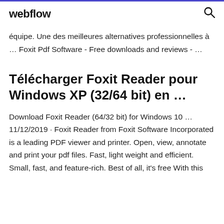webflow
équipe. Une des meilleures alternatives professionnelles à … Foxit Pdf Software - Free downloads and reviews - …
Télécharger Foxit Reader pour Windows XP (32/64 bit) en …
Download Foxit Reader (64/32 bit) for Windows 10 … 11/12/2019 · Foxit Reader from Foxit Software Incorporated is a leading PDF viewer and printer. Open, view, annotate and print your pdf files. Fast, light weight and efficient. Small, fast, and feature-rich. Best of all, it's free With this